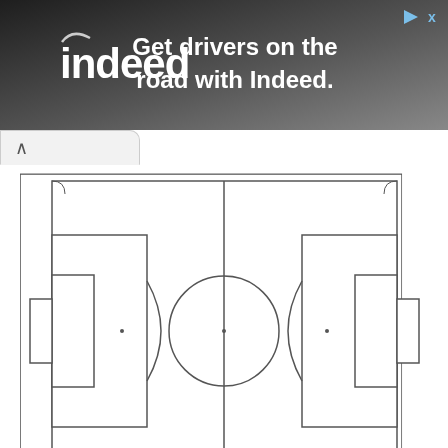[Figure (screenshot): Indeed advertisement banner with dark gradient background, Indeed logo on left, text 'Get drivers on the road with Indeed.' in white bold, close/skip button top right]
[Figure (schematic): Soccer/football field diagram top-down view, white background with black lines showing field markings: outer boundary, penalty areas on each end, goal areas, center circle, center line, penalty spots, corner arcs]
Football Field Diagram Free Soccer Field Template Download Free Clip Art Free Clip Art On
[Figure (photo): Green American football field with yard line numbers '40' visible on left and right sides, white hash marks and yard lines on green turf, partially visible at bottom of page with red scroll-to-top button overlay]